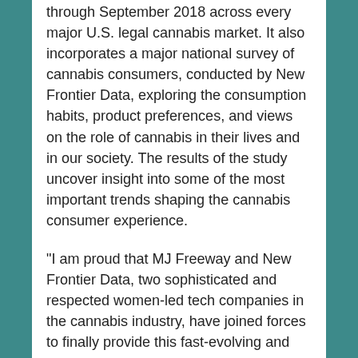through September 2018 across every major U.S. legal cannabis market. It also incorporates a major national survey of cannabis consumers, conducted by New Frontier Data, exploring the consumption habits, product preferences, and views on the role of cannabis in their lives and in our society. The results of the study uncover insight into some of the most important trends shaping the cannabis consumer experience.
"I am proud that MJ Freeway and New Frontier Data, two sophisticated and respected women-led tech companies in the cannabis industry, have joined forces to finally provide this fast-evolving and expanding sector with a fact-based customer archetypes study; this type of report is a staple in any mature industry with a healthy customer-driven market place and helps fill what has been a major business intelligence gap in the cannabis industry until now," said Giadha Aguirre de Carcer, Founder and CEO of New Frontier Data.